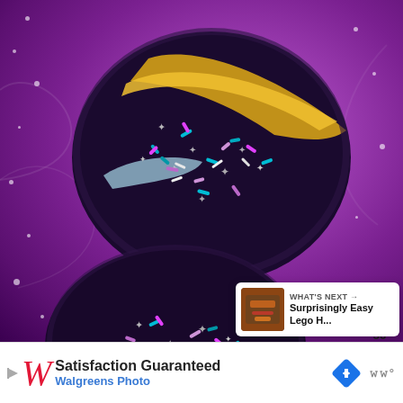[Figure (photo): Two dark galaxy/cosmic donuts with black frosting, colorful sprinkles (teal, pink, silver star-shaped), a gold/yellow stripe on one, and a light blue swirl, placed on purple sparkling tulle fabric. Social media UI overlays include a heart button, like count of 36, a share button, and a 'What's Next' card showing 'Surprisingly Easy Lego H...' on the right side.]
WHAT'S NEXT → Surprisingly Easy Lego H...
Satisfaction Guaranteed
Walgreens Photo